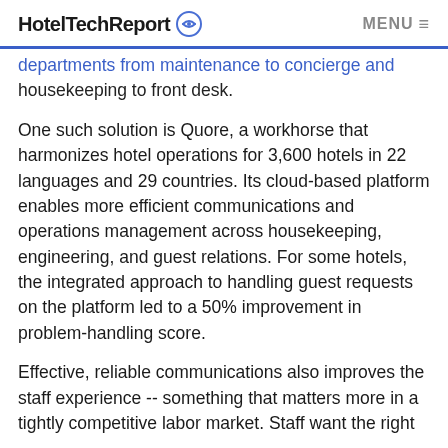HotelTechReport MENU
departments from maintenance to concierge and housekeeping to front desk.
One such solution is Quore, a workhorse that harmonizes hotel operations for 3,600 hotels in 22 languages and 29 countries. Its cloud-based platform enables more efficient communications and operations management across housekeeping, engineering, and guest relations. For some hotels, the integrated approach to handling guest requests on the platform led to a 50% improvement in problem-handling score.
Effective, reliable communications also improves the staff experience -- something that matters more in a tightly competitive labor market. Staff want the right